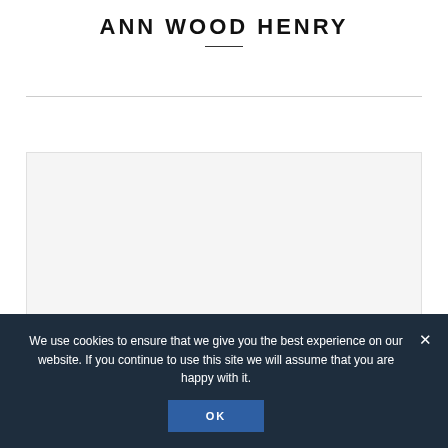ANN WOOD HENRY
[Figure (other): Light gray content placeholder box below a horizontal rule]
We use cookies to ensure that we give you the best experience on our website. If you continue to use this site we will assume that you are happy with it.
OK